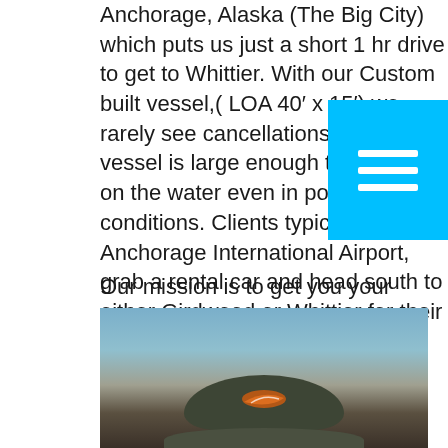Anchorage, Alaska (The Big City) which puts us just a short 1 hr drive to get to Whittier. With our Custom built vessel,( LOA 40' x 15') we rarely see cancellations as our vessel is large enough to get us out on the water even in poor conditions. Clients typically fly into Anchorage International Airport, grab a rental car and head south to either Girdwood or Whittier for their stay the night before the trip.
Our mission is to get you your trophy birds all while providing the best Alaska Sea Duck Hunting experience one can offer while doing so.
[Figure (photo): Photo of a person wearing a camouflage hat with a logo, taken from behind/side, with water and sky visible in the background.]